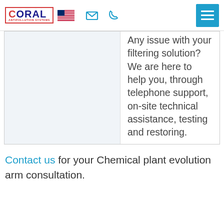CORAL ANTIPOLLUTION SYSTEMS — navigation bar with logo, email icon, phone icon, and hamburger menu
Any issue with your filtering solution? We are here to help you, through telephone support, on-site technical assistance, testing and restoring.
Contact us for your Chemical plant evolution arm consultation.